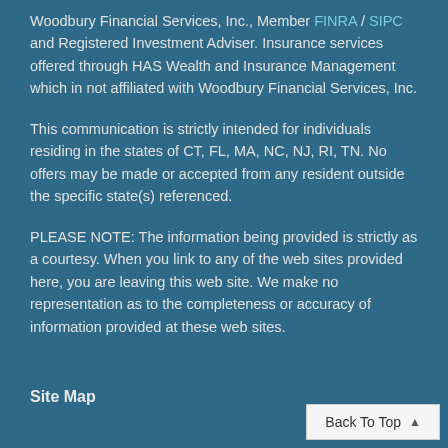Woodbury Financial Services, Inc., Member FINRA / SIPC and Registered Investment Adviser. Insurance services offered through HAS Wealth and Insurance Management which in not affiliated with Woodbury Financial Services, Inc.
This communication is strictly intended for individuals residing in the states of CT, FL, MA, NC, NJ, RI, TN. No offers may be made or accepted from any resident outside the specific state(s) referenced.
PLEASE NOTE: The information being provided is strictly as a courtesy. When you link to any of the web sites provided here, you are leaving this web site. We make no representation as to the completeness or accuracy of information provided at these web sites.
Site Map
Back To Top